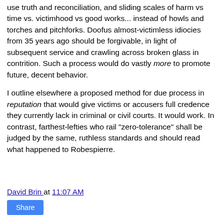use truth and reconciliation, and sliding scales of harm vs time vs. victimhood vs good works... instead of howls and torches and pitchforks. Doofus almost-victimless idiocies from 35 years ago should be forgivable, in light of subsequent service and crawling across broken glass in contrition. Such a process would do vastly more to promote future, decent behavior.
I outline elsewhere a proposed method for due process in reputation that would give victims or accusers full credence they currently lack in criminal or civil courts. It would work. In contrast, farthest-lefties who rail "zero-tolerance" shall be judged by the same, ruthless standards and should read what happened to Robespierre.
David Brin at 11:07 AM
Share